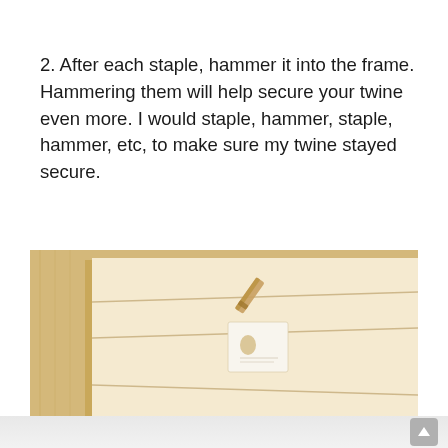2. After each staple, hammer it into the frame. Hammering them will help secure your twine even more. I would staple, hammer, staple, hammer, etc, to make sure my twine stayed secure.
[Figure (photo): A cream/beige picture frame with horizontal twine lines stretched across it. A wooden clothespin clips a small white card onto one of the twine lines. The frame sits on a light surface.]